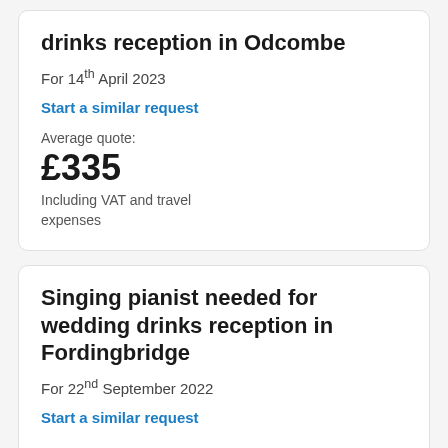drinks reception in Odcombe
For 14th April 2023
Start a similar request
Average quote:
£335
Including VAT and travel expenses
Singing pianist needed for wedding drinks reception in Fordingbridge
For 22nd September 2022
Start a similar request